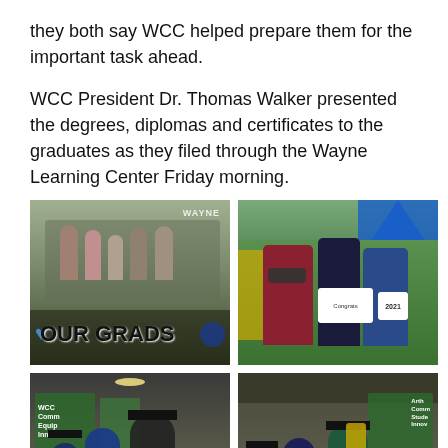they both say WCC helped prepare them for the important task ahead.
WCC President Dr. Thomas Walker presented the degrees, diplomas and certificates to the graduates as they filed through the Wayne Learning Center Friday morning.
[Figure (photo): Group of people standing outside in front of a Wayne Community College sign with a large 'OUR GRADS' sign visible in the foreground]
[Figure (photo): Four people wearing masks standing under a blue tent, some holding congratulatory signs]
[Figure (photo): Indoor shot of graduates in caps and gowns filing through the Wayne Learning Center corridor]
[Figure (photo): Another indoor shot of graduates and faculty in caps and gowns in the Wayne Learning Center]